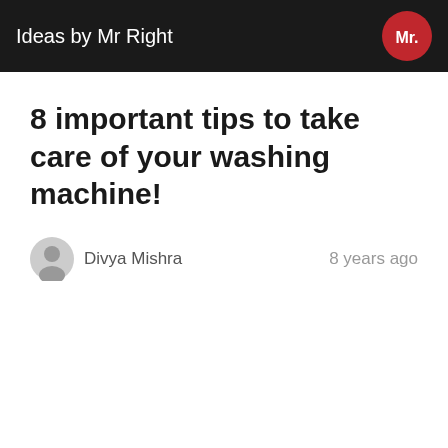Ideas by Mr Right
8 important tips to take care of your washing machine!
Divya Mishra   8 years ago